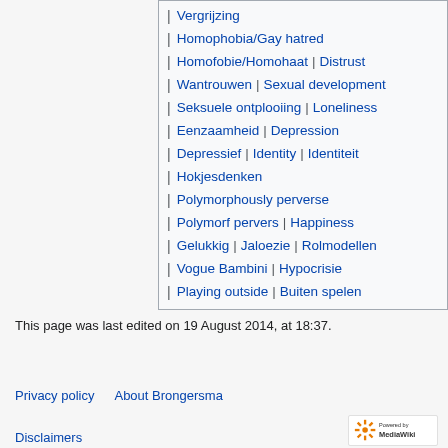Vergrijzing
Homophobia/Gay hatred
Homofobie/Homohaat | Distrust
Wantrouwen | Sexual development
Seksuele ontplooiing | Loneliness
Eenzaamheid | Depression
Depressief | Identity | Identiteit
Hokjesdenken
Polymorphously perverse
Polymorf pervers | Happiness
Gelukkig | Jaloezie | Rolmodellen
Vogue Bambini | Hypocrisie
Playing outside | Buiten spelen
This page was last edited on 19 August 2014, at 18:37.
Privacy policy   About Brongersma   Disclaimers